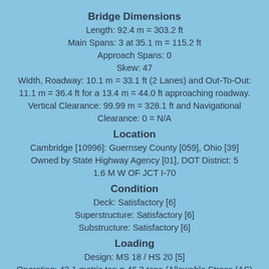Bridge Dimensions
Length: 92.4 m = 303.2 ft
Main Spans: 3 at 35.1 m = 115.2 ft
Approach Spans: 0
Skew: 47
Width, Roadway: 10.1 m = 33.1 ft (2 Lanes) and Out-To-Out: 11.1 m = 36.4 ft for a 13.4 m = 44.0 ft approaching roadway.
Vertical Clearance: 99.99 m = 328.1 ft and Navigational Clearance: 0 = N/A
Location
Cambridge [10996]: Guernsey County [059], Ohio [39]
Owned by State Highway Agency [01], DOT District: 5
1.6 M W OF JCT I-70
Condition
Deck: Satisfactory [6]
Superstructure: Satisfactory [6]
Substructure: Satisfactory [6]
Loading
Design: MS 18 / HS 20 [5]
Operating: 42.1 metric ton = 46.3 tons (Allowable Stress (AS) rating reported by rating factor (RF) method using MS18 loading [7])